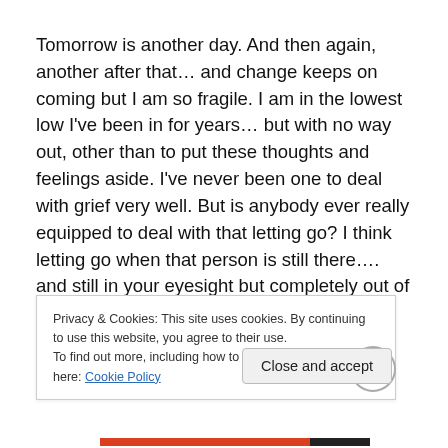Tomorrow is another day. And then again, another after that… and change keeps on coming but I am so fragile. I am in the lowest low I've been in for years… but with no way out, other than to put these thoughts and feelings aside. I've never been one to deal with grief very well. But is anybody ever really equipped to deal with that letting go? I think letting go when that person is still there…. and still in your eyesight but completely out of reach is the most heart wrenching thing I've ever experienced.
Privacy & Cookies: This site uses cookies. By continuing to use this website, you agree to their use.
To find out more, including how to control cookies, see here: Cookie Policy